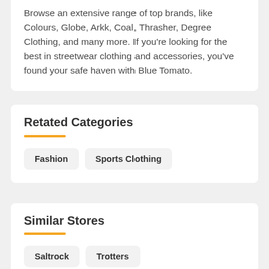Browse an extensive range of top brands, like Colours, Globe, Arkk, Coal, Thrasher, Degree Clothing, and many more. If you're looking for the best in streetwear clothing and accessories, you've found your safe haven with Blue Tomato.
Retated Categories
Fashion
Sports Clothing
Similar Stores
Saltrock
Trotters
London Sock Company